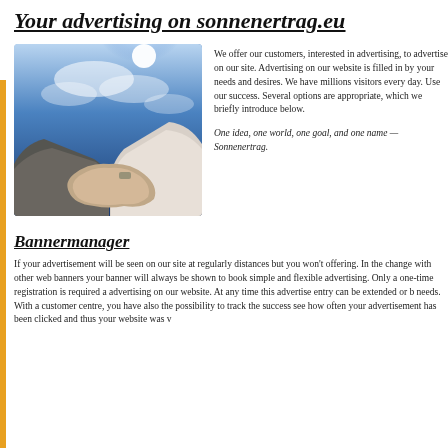Your advertising on sonnenertrag.eu
[Figure (photo): Two people shaking hands against a blue sky with sunlight in the background]
We offer our customers, interested in advertising, to advertise on our site. Advertising on our website is filled in by your needs and desires. We have millions visitors every day. Use our success. Several options are appropriate, which we briefly introduce below.
One idea, one world, one goal, and one name — Sonnenertrag.
Bannermanager
If your advertisement will be seen on our site at regularly distances but you won't offering. In the change with other web banners your banner will always be shown to book simple and flexible advertising. Only a one-time registration is required a advertising on our website. At any time this advertise entry can be extended or b needs. With a customer centre, you have also the possibility to track the success see how often your advertisement has been clicked and thus your website was v